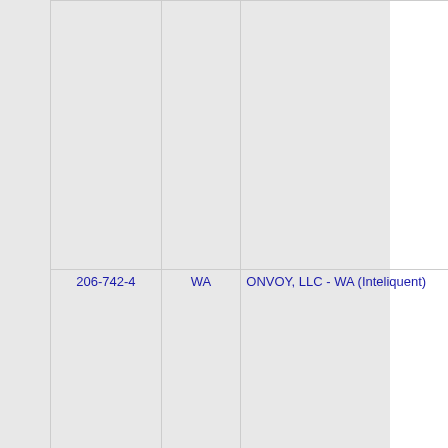| Phone | State | Carrier | Num |
| --- | --- | --- | --- |
| 206-742-4 | WA | ONVOY, LLC - WA (Inteliquent) | 48 |
| 206-742-5 | WA | ONVOY, LLC - WA (Inteliquent) | 48 |